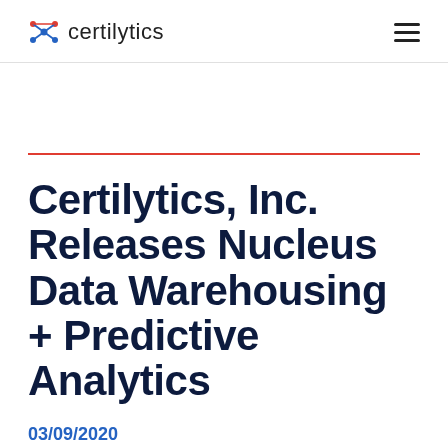certilytics
Certilytics, Inc. Releases Nucleus Data Warehousing + Predictive Analytics
03/09/2020
News